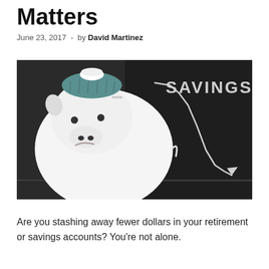Matters
June 23, 2017  -  by David Martinez
[Figure (photo): A sick-looking white ceramic piggy bank wearing an ice pack on its head, with a sad expression, placed in front of a blackboard showing a declining line chart labeled 'SAVINGS' with an arrow pointing down.]
Are you stashing away fewer dollars in your retirement or savings accounts? You're not alone.